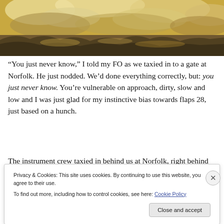[Figure (photo): Aerial/landscape photograph with golden-brown sepia tones showing clouds, sky, and rocky terrain or mountains below]
“You just never know,” I told my FO as we taxied in to a gate at Norfolk. He just nodded. We’d done everything correctly, but: you just never know. You’re vulnerable on approach, dirty, slow and low and I was just glad for my instinctive bias towards flaps 28, just based on a hunch.
The instrument crew taxied in behind us at Norfolk, right behind
Privacy & Cookies: This site uses cookies. By continuing to use this website, you agree to their use.
To find out more, including how to control cookies, see here: Cookie Policy
Close and accept